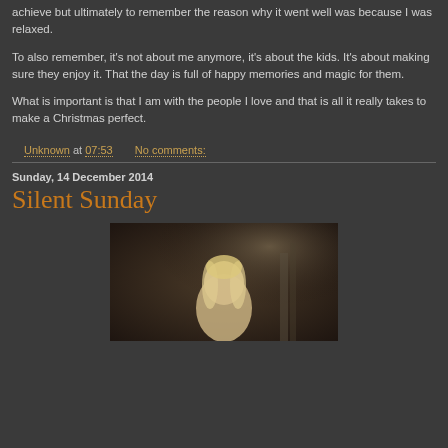achieve but ultimately to remember the reason why it went well was because I was relaxed.
To also remember, it's not about me anymore, it's about the kids. It's about making sure they enjoy it. That the day is full of happy memories and magic for them.
What is important is that I am with the people I love and that is all it really takes to make a Christmas perfect.
Unknown at 07:53    No comments:
Sunday, 14 December 2014
Silent Sunday
[Figure (photo): A photograph of a person with blonde hair, shown from behind/side, in a dark warm-toned setting.]